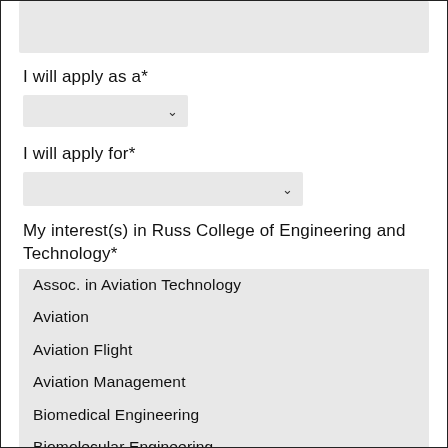[Figure (other): Gray input box at top of page]
I will apply as a*
[Figure (other): Dropdown selector for 'I will apply as a*']
I will apply for*
[Figure (other): Dropdown selector for 'I will apply for*']
My interest(s) in Russ College of Engineering and Technology*
Assoc. in Aviation Technology
Aviation
Aviation Flight
Aviation Management
Biomedical Engineering
Biomolecular Engineering
Chemical Engineering
Chemical Engineering - Biological Track
Chemical Engineering - Energy and the Envi